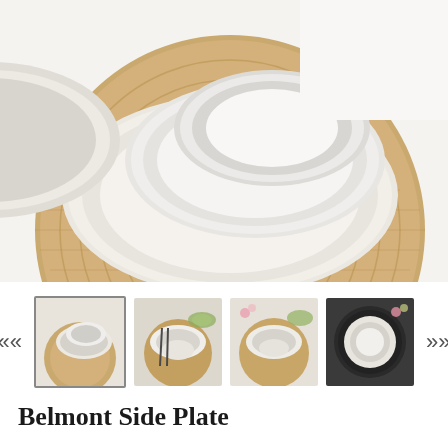[Figure (photo): Overhead view of white ceramic plates and bowls stacked on a round woven jute placemat on a white surface]
[Figure (photo): Thumbnail 1 (selected): Overhead view of white plates on jute placemat]
[Figure (photo): Thumbnail 2: Overhead view of white plate with dark cutlery on jute placemat with salad bowl]
[Figure (photo): Thumbnail 3: Overhead view of white plates on jute placemat with flowers]
[Figure (photo): Thumbnail 4: White plate with dark rim detail on dark placemat]
Belmont Side Plate